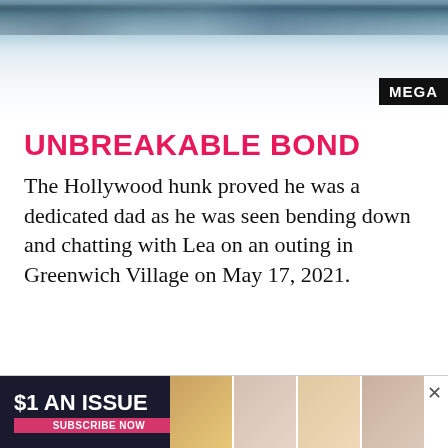[Figure (photo): Outdoor background photo showing a snowy or wintry landscape with sky, partially cropped at top of page]
MEGA
UNBREAKABLE BOND
The Hollywood hunk proved he was a dedicated dad as he was seen bending down and chatting with Lea on an outing in Greenwich Village on May 17, 2021.
[Figure (infographic): Advertisement banner: $1 AN ISSUE — SUBSCRIBE NOW with magazine cover images]